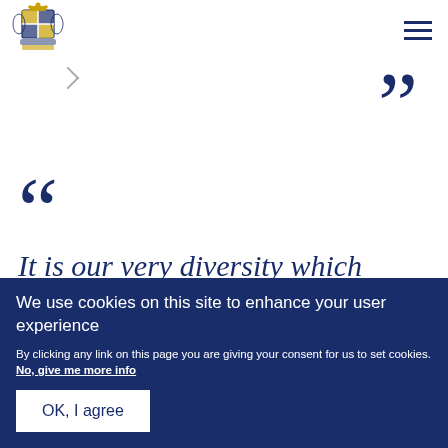[Figure (logo): UK Government coat of arms logo in dark navy blue]
“”
““
It is our very diversity which makes the
We use cookies on this site to enhance your user experience
By clicking any link on this page you are giving your consent for us to set cookies. No, give me more info
OK, I agree